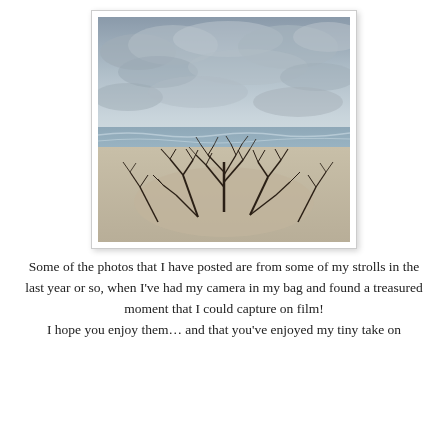[Figure (photo): A beach scene with bare, leafless shrubs or small trees on a sandy dune in the foreground. The background shows ocean waves and an overcast, cloudy grey sky. The image is framed with a white border and light drop shadow, resembling a printed photograph.]
Some of the photos that I have posted are from some of my strolls in the last year or so, when I've had my camera in my bag and found a treasured moment that I could capture on film! I hope you enjoy them… and that you've enjoyed my tiny take on